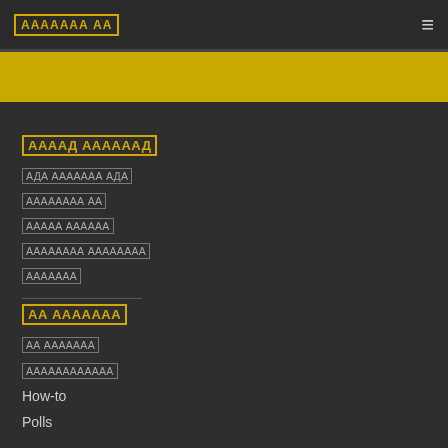ААААААА АА
ААААД ААААААД
АДА ААААААА АДА
АААААААА АА
ААААА АААААА
АААААААА АААААААА
ААААААА
АА ААААААА
АА ААААААА
АААААААААААА
How-to
Polls